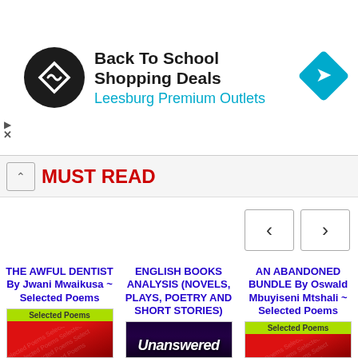[Figure (screenshot): Advertisement banner for Back To School Shopping Deals at Leesburg Premium Outlets with logo and navigation arrow icon]
MUST READ
[Figure (infographic): Left navigation arrow button and right navigation arrow button for carousel]
THE AWFUL DENTIST By Jwani Mwaikusa ~ Selected Poems
ENGLISH BOOKS ANALYSIS (NOVELS, PLAYS, POETRY AND SHORT STORIES)
AN ABANDONED BUNDLE By Oswald Mbuyiseni Mtshali ~ Selected Poems
[Figure (photo): Book cover: Selected Poems - red cover with green label]
[Figure (photo): Book cover: Unanswered - dark cover with stylized text]
[Figure (photo): Book cover: Selected Poems - red cover with green label]